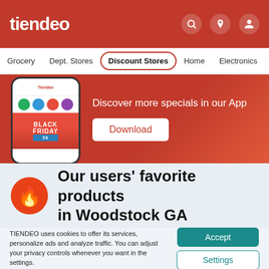tiendeo
Grocery  Dept. Stores  Discount Stores  Home  Electronics
[Figure (screenshot): Promotional banner showing a phone mockup with the Tiendeo app and text 'Discover more specials in our App' with a Download button]
Our users' favorite products in Woodstock GA
TIENDEO uses cookies to offer its services, personalize ads and analyze traffic. You can adjust your privacy controls whenever you want in the settings.